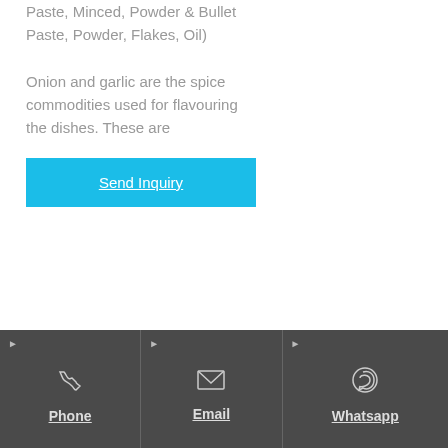Paste, Minced, Powder & Bullet Paste, Powder, Flakes, Oil)
Onion and garlic are the spice commodities used for flavouring the dishes. These are
Send Inquiry
Phone | Email | Whatsapp